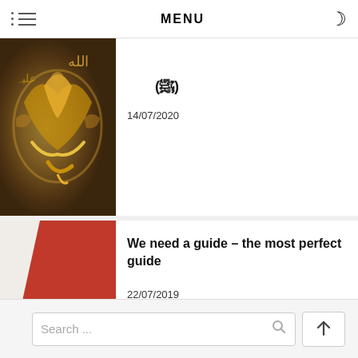MENU
[Figure (photo): Islamic Arabic calligraphy in gold on stone background]
(ﷺ)
14/07/2020
[Figure (photo): Hand pointing finger against a red background]
We need a guide – the most perfect guide
22/07/2019
Search ...